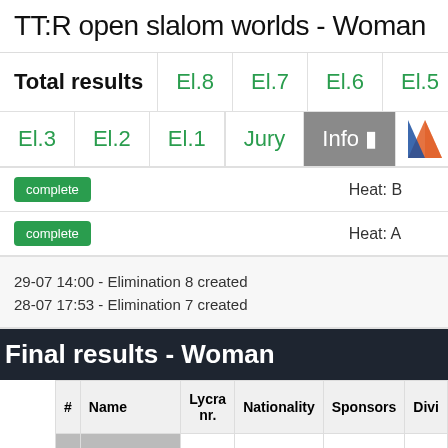TT:R open slalom worlds - Woman
Total results  El.8  El.7  El.6  El.5  El.4
El.3  El.2  El.1  Jury  Info
complete  Heat: B
complete  Heat: A
29-07 14:00 - Elimination 8 created
28-07 17:53 - Elimination 7 created
Final results - Woman
| # | Name | Lycra nr. | Nationality | Sponsors | Divi |
| --- | --- | --- | --- | --- | --- |
|  |  |  |  |  |  |